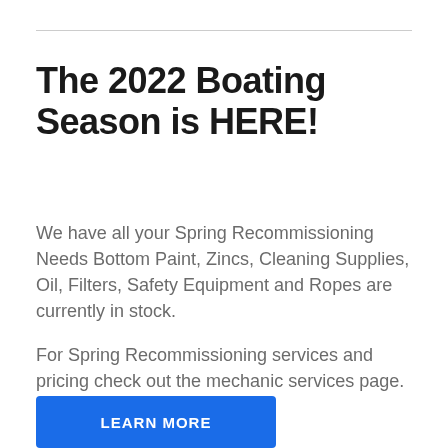The 2022 Boating Season is HERE!
We have all your Spring Recommissioning Needs Bottom Paint, Zincs, Cleaning Supplies, Oil, Filters, Safety Equipment and Ropes are currently in stock.
For Spring Recommissioning services and pricing check out the mechanic services page.
LEARN MORE